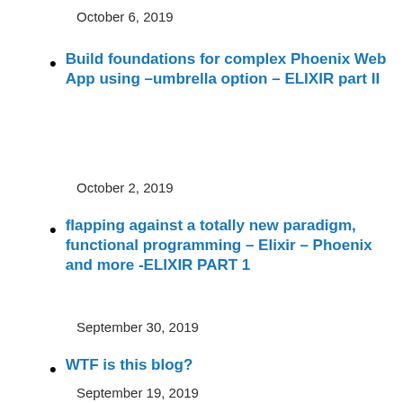October 6, 2019
Build foundations for complex Phoenix Web App using –umbrella option – ELIXIR part II
October 2, 2019
flapping against a totally new paradigm, functional programming – Elixir – Phoenix and more -ELIXIR PART 1
September 30, 2019
WTF is this blog?
September 19, 2019